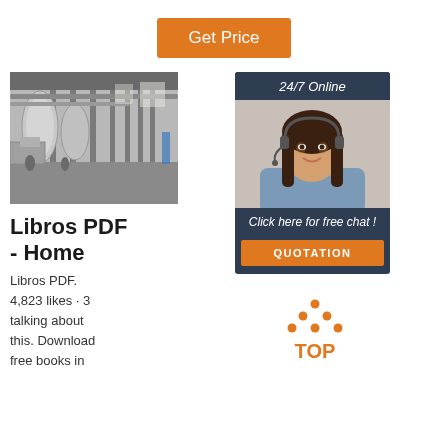[Figure (other): Orange 'Get Price' button]
[Figure (photo): Black and white industrial factory interior with large machinery and pipes]
Libros PDF - Home
Libros PDF. 4,823 likes · 3 talking about this. Download free books in
[Figure (infographic): 24/7 Online chat widget with woman wearing headset, 'Click here for free chat!' text, and orange QUOTATION button]
[Figure (logo): Orange dotted triangle TOP logo]